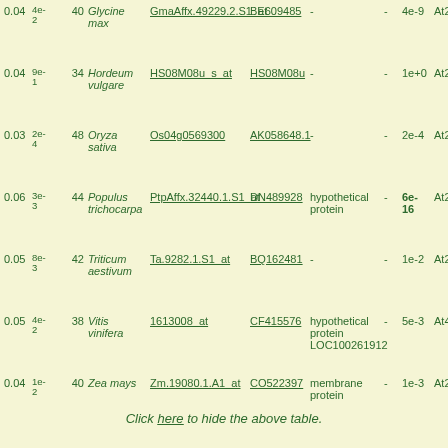| FDR | E-val | % | Species | Probe set | Accession | Description | - | BLAST E-val | At... |
| --- | --- | --- | --- | --- | --- | --- | --- | --- | --- |
| 0.04 | 4e-2 | 40 | Glycine max | GmaAffx.49229.2.S1_at | BE609485 | - | - | 4e-9 | At2... |
| 0.04 | 9e-1 | 34 | Hordeum vulgare | HS08M08u_s_at | HS08M08u | - | - | 1e+0 | At2... |
| 0.03 | 2e-4 | 48 | Oryza sativa | Os04g0569300 | AK058648.1 | - | - | 2e-4 | At2... |
| 0.06 | 3e-3 | 44 | Populus trichocarpa | PtpAffx.32440.1.S1_at | DN489928 | hypothetical protein | - | 6e-16 | At2... |
| 0.05 | 8e-3 | 42 | Triticum aestivum | Ta.9282.1.S1_at | BQ162481 | - | - | 1e-2 | At2... |
| 0.05 | 4e-2 | 38 | Vitis vinifera | 1613008_at | CF415576 | hypothetical protein LOC100261912 | - | 5e-3 | At4... |
| 0.04 | 1e-2 | 40 | Zea mays | Zm.19080.1.A1_at | CO522397 | membrane protein | - | 1e-3 | At2... |
Click here to hide the above table.